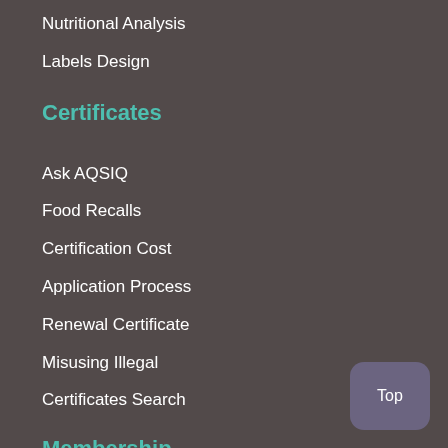Nutritional Analysis
Labels Design
Certificates
Ask AQSIQ
Food Recalls
Certification Cost
Application Process
Renewal Certificate
Misusing Illegal
Certificates Search
Membership
About AQSIQ